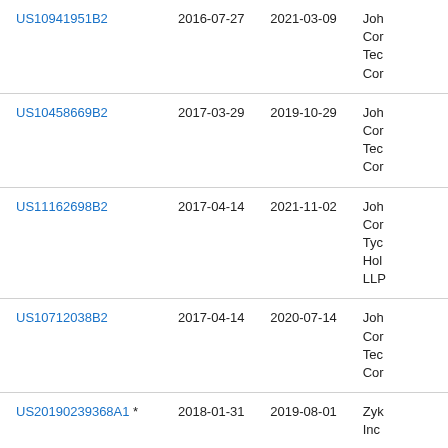| Patent Number | Filed | Published/Issued | Assignee |
| --- | --- | --- | --- |
| US10941951B2 | 2016-07-27 | 2021-03-09 | Joh
Cor
Tec
Cor |
| US10458669B2 | 2017-03-29 | 2019-10-29 | Joh
Cor
Tec
Cor |
| US11162698B2 | 2017-04-14 | 2021-11-02 | Joh
Cor
Tyc
Hol
LLP |
| US10712038B2 | 2017-04-14 | 2020-07-14 | Joh
Cor
Tec
Cor |
| US20190239368A1 * | 2018-01-31 | 2019-08-01 | Zyh
Inc |
| US10297997B1 * | 2018-02-22 | 2019-05-21 | Mic
Wie |